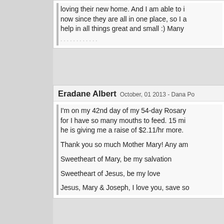loving their new home. And I am able to i now since they are all in one place, so I a help in all things great and small :) Many
Eradane Albert   October, 01 2013 - Dana Po
I'm on my 42nd day of my 54-day Rosary for I have so many mouths to feed. 15 mi he is giving me a raise of $2.11/hr more.

Thank you so much Mother Mary! Any am

Sweetheart of Mary, be my salvation

Sweetheart of Jesus, be my love

Jesus, Mary & Joseph, I love you, save so
Divya Maria   October, 01 2013 - Netherlands
I have been praying for sometime now fo my life...i had asked mother to show me s looking around to find roses and to my su obvious places...i left hone but howeve